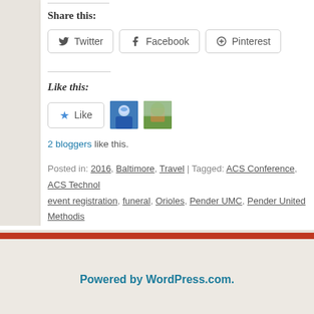Share this:
Twitter  Facebook  Pinterest
Like this:
2 bloggers like this.
Posted in: 2016, Baltimore, Travel | Tagged: ACS Conference, ACS Technol… event registration, funeral, Orioles, Pender UMC, Pender United Methodis…
Powered by WordPress.com.